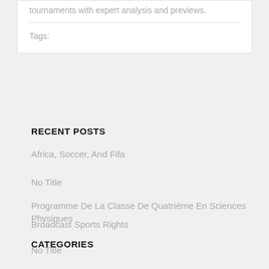tournaments with expert analysis and previews.
Tags:
RECENT POSTS
Africa, Soccer, And Fifa
No Title
Programme De La Classe De Quatrième En Sciences Physiques
Broadcast Sports Rights
No Title
CATEGORIES